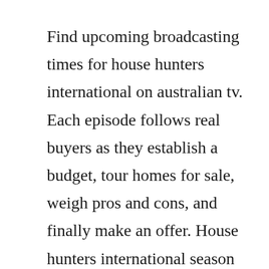Find upcoming broadcasting times for house hunters international on australian tv. Each episode follows real buyers as they establish a budget, tour homes for sale, weigh pros and cons, and finally make an offer. House hunters international season 102 full episodes. Watch house hunters international online full episodes. Buy house hunters international, season 102 microsoft store. Hunter douglas custom window blinds, shades, drapes. Young parents from rockford, illinois, have saved up to move out of their parents basement. All 6